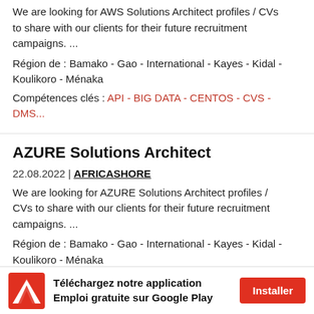We are looking for AWS Solutions Architect profiles / CVs to share with our clients for their future recruitment campaigns.  ...
Région de : Bamako - Gao - International - Kayes - Kidal - Koulikoro - Ménaka
Compétences clés : API - BIG DATA - CENTOS - CVS - DMS...
AZURE Solutions Architect
22.08.2022 | AFRICASHORE
We are looking for AZURE Solutions Architect profiles / CVs to share with our clients for their future recruitment campaigns.  ...
Région de : Bamako - Gao - International - Kayes - Kidal - Koulikoro - Ménaka
Compétences clés : ACCES ILE - ARM - AZURE ...
Téléchargez notre application Emploi gratuite sur Google Play